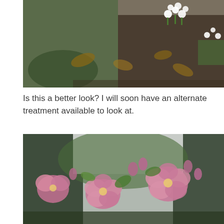[Figure (photo): Garden scene with white flowers (snowdrops or similar small white blooms) growing among dead leaves and green foliage on a slope. Dark soil visible.]
Is this a better look? I will soon have an alternate treatment available to look at.
[Figure (photo): Close-up of pink hellebore flowers in full bloom with buds, green leaves, and trees in the background.]